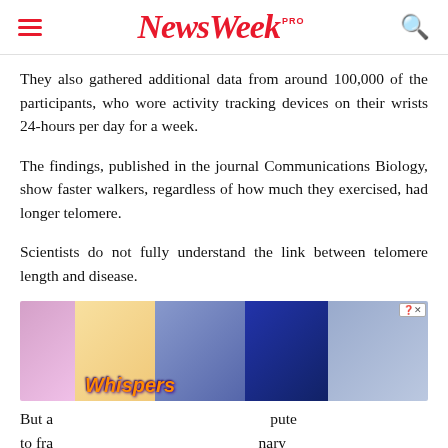NewsWeek PRO
They also gathered additional data from around 100,000 of the participants, who wore activity tracking devices on their wrists 24-hours per day for a week.
The findings, published in the journal Communications Biology, show faster walkers, regardless of how much they exercised, had longer telomere.
Scientists do not fully understand the link between telomere length and disease.
[Figure (photo): Advertisement overlay showing a mobile game called 'Whispers' with illustrated romantic characters]
But a ... to fra... artery...